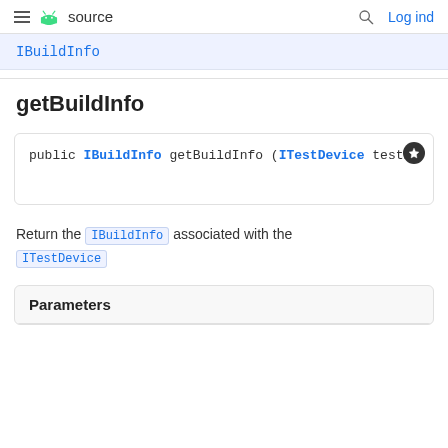≡  source   🔍  Log ind
IBuildInfo
getBuildInfo
public IBuildInfo getBuildInfo (ITestDevice testD
Return the IBuildInfo associated with the ITestDevice
| Parameters |
| --- |